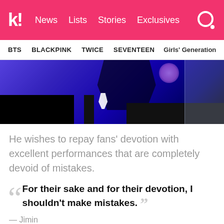k! News Lists Stories Exclusives
BTS  BLACKPINK  TWICE  SEVENTEEN  Girls' Generation
[Figure (photo): Dark stage performance photo with blue lighting, silhouettes, and a small white figure on stage]
He wishes to repay fans’ devotion with excellent performances that are completely devoid of mistakes.
“For their sake and for their devotion, I shouldn’t make mistakes.”
— Jimin